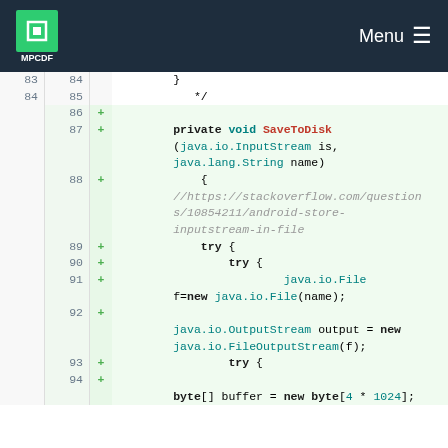MPCDF | Menu
[Figure (screenshot): Code diff view showing Java method SaveToDisk with line numbers 83-94, additions highlighted in green]
83  84      }
84  85          */
    86  +
    87  +       private void SaveToDisk(java.io.InputStream is, java.lang.String name)
    88  +           {
            //https://stackoverflow.com/questions/10854211/android-store-inputstream-in-file
    89  +           try {
    90  +               try {
    91  +                   java.io.File f=new java.io.File(name);
    92  +
            java.io.OutputStream output = new java.io.FileOutputStream(f);
    93  +               try {
    94  +
            byte[] buffer = new byte[4 * 1024];